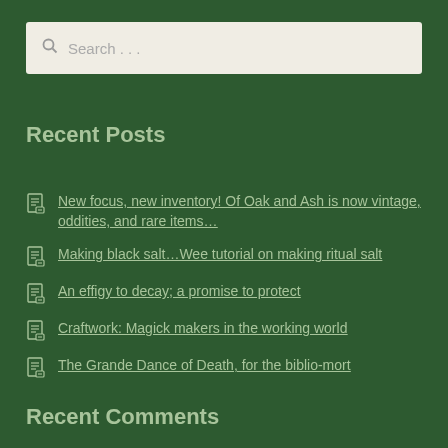Search…
Recent Posts
New focus, new inventory! Of Oak and Ash is now vintage, oddities, and rare items…
Making black salt…Wee tutorial on making ritual salt
An effigy to decay; a promise to protect
Craftwork: Magick makers in the working world
The Grande Dance of Death, for the biblio-mort
Recent Comments